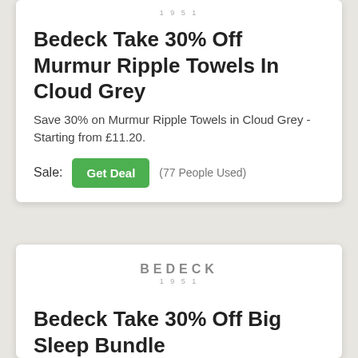[Figure (logo): Bedeck 1951 logo, top card]
Bedeck Take 30% Off Murmur Ripple Towels In Cloud Grey
Save 30% on Murmur Ripple Towels in Cloud Grey - Starting from £11.20.
Sale: Get Deal (77 People Used)
[Figure (logo): Bedeck 1951 logo, bottom card]
Bedeck Take 30% Off Big Sleep Bundle
Save 30% on the Big Sleep Bundle - Contains: 1x